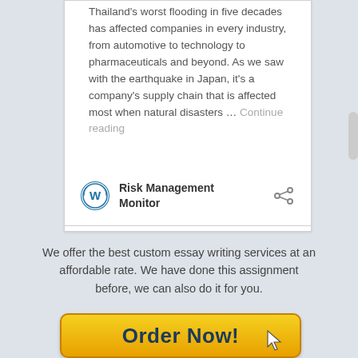Thailand's worst flooding in five decades has affected companies in every industry, from automotive to technology to pharmaceuticals and beyond. As we saw with the earthquake in Japan, it's a company's supply chain that is affected most when natural disasters … Continue reading
Risk Management Monitor
We offer the best custom essay writing services at an affordable rate. We have done this assignment before, we can also do it for you.
[Figure (other): Order Now! button with golden/yellow gradient background and dark blue bold text, with a mouse cursor icon on the right side]